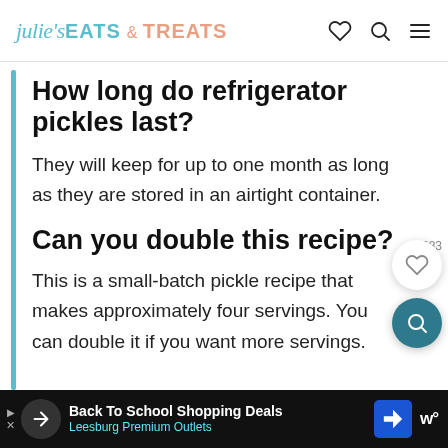julie's EATS & TREATS
How long do refrigerator pickles last?
They will keep for up to one month as long as they are stored in an airtight container.
Can you double this recipe?
This is a small-batch pickle recipe that makes approximately four servings. You can double it if you want more servings.
[Figure (other): Advertisement banner: Back To School Shopping Deals - Leesburg Premium Outlets]
683